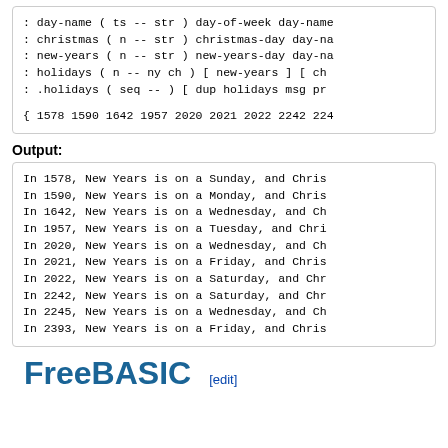: day-name ( ts -- str ) day-of-week day-name
: christmas ( n -- str ) christmas-day day-na
: new-years ( n -- str ) new-years-day day-na
: holidays ( n -- ny ch ) [ new-years ] [ ch
: .holidays ( seq -- ) [ dup holidays msg pr
{ 1578 1590 1642 1957 2020 2021 2022 2242 224
Output:
In 1578, New Years is on a Sunday, and Chris
In 1590, New Years is on a Monday, and Chris
In 1642, New Years is on a Wednesday, and Ch
In 1957, New Years is on a Tuesday, and Chri
In 2020, New Years is on a Wednesday, and Ch
In 2021, New Years is on a Friday, and Chris
In 2022, New Years is on a Saturday, and Chr
In 2242, New Years is on a Saturday, and Chr
In 2245, New Years is on a Wednesday, and Ch
In 2393, New Years is on a Friday, and Chris
FreeBASIC [edit]